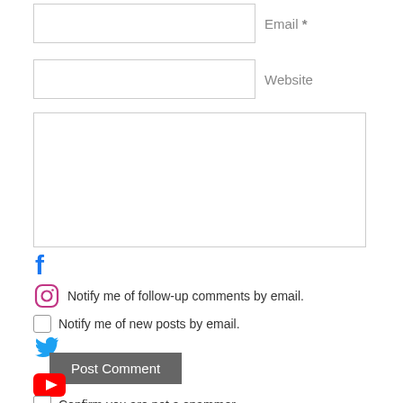[Figure (screenshot): Web form with email input field, website input field, comment textarea, social media icons (Facebook, Instagram, Twitter, YouTube), checkboxes for notification, Post Comment button, and spam confirmation checkbox]
Email *
Website
Notify me of follow-up comments by email.
Notify me of new posts by email.
Post Comment
Confirm you are not a spammer